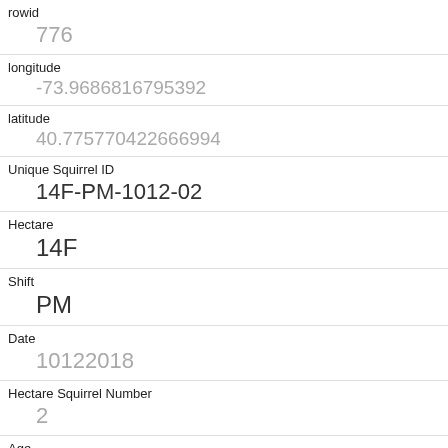| Field | Value |
| --- | --- |
| rowid | 776 |
| longitude | -73.9686816795392 |
| latitude | 40.775770422666994 |
| Unique Squirrel ID | 14F-PM-1012-02 |
| Hectare | 14F |
| Shift | PM |
| Date | 10122018 |
| Hectare Squirrel Number | 2 |
| Age | Adult |
| Primary Fur Color | Gray |
| Highlight Fur Color |  |